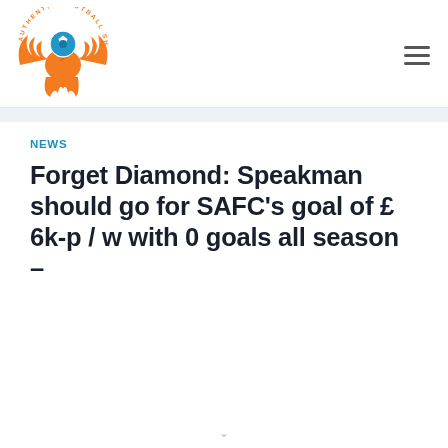[Figure (logo): Authentic Football Shop Titans logo: orange phoenix bird with blue soccer ball, circular text reading AUTHENTIC FOOTBALL SHOP TITANS]
NEWS
Forget Diamond: Speakman should go for SAFC's goal of £ 6k-p / w with 0 goals all season –